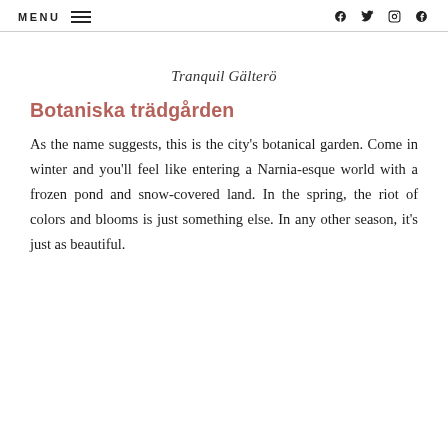MENU  f  Twitter  Instagram  Pinterest
Tranquil Gälterö
Botaniska trädgården
As the name suggests, this is the city's botanical garden. Come in winter and you'll feel like entering a Narnia-esque world with a frozen pond and snow-covered land. In the spring, the riot of colors and blooms is just something else. In any other season, it's just as beautiful.